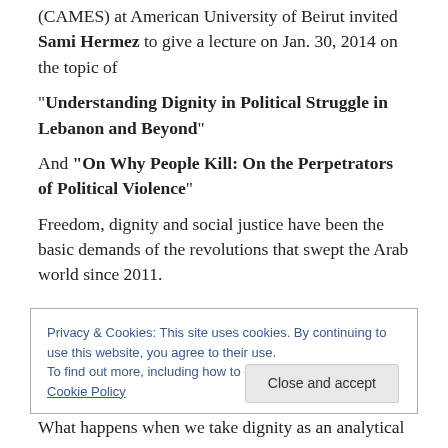(CAMES) at American University of Beirut invited Sami Hermez to give a lecture on Jan. 30, 2014 on the topic of
“Understanding Dignity in Political Struggle in Lebanon and Beyond”
And “On Why People Kill: On the Perpetrators of Political Violence”
Freedom, dignity and social justice have been the basic demands of the revolutions that swept the Arab world since 2011.
Privacy & Cookies: This site uses cookies. By continuing to use this website, you agree to their use.
To find out more, including how to control cookies, see here: Cookie Policy
What happens when we take dignity as an analytical